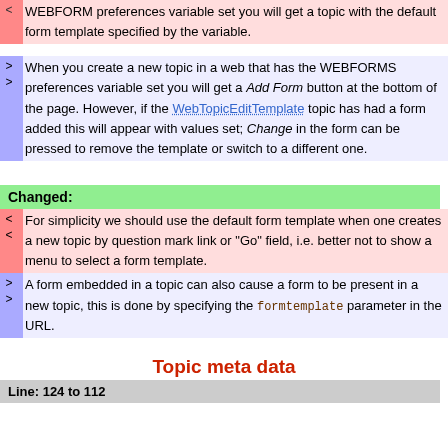< WEBFORM preferences variable set you will get a topic with the default form template specified by the variable.
> When you create a new topic in a web that has the
> WEBFORMS preferences variable set you will get a Add Form button at the bottom of the page. However, if the WebTopicEditTemplate topic has had a form added this will appear with values set; Change in the form can be pressed to remove the template or switch to a different one.
Changed:
< For simplicity we should use the default form template when
< one creates a new topic by question mark link or "Go" field, i.e. better not to show a menu to select a form template.
> A form embedded in a topic can also cause a form to be
> present in a new topic, this is done by specifying the formtemplate parameter in the URL.
Topic meta data
Line: 124 to 112